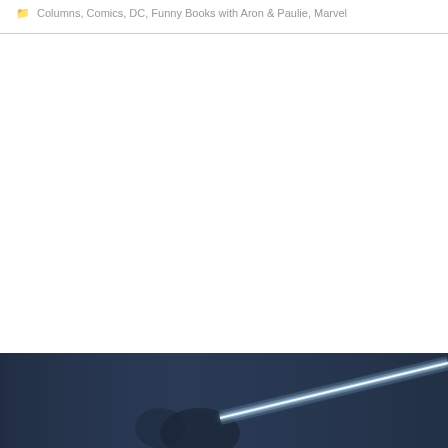Columns, Comics, DC, Funny Books with Aron & Paulie, Marvel
[Figure (photo): A dark scene with a bright blue glowing lightsaber or neon light bar cutting diagonally across the frame against a dark bluish background]